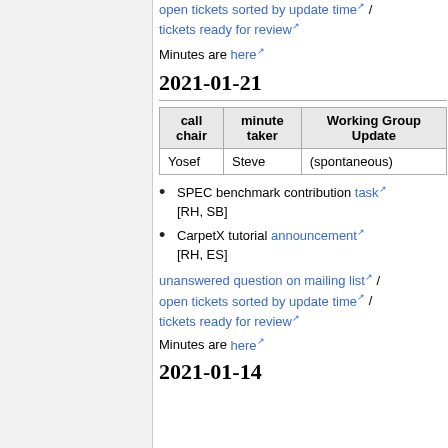open tickets sorted by update time / tickets ready for review
Minutes are here
2021-01-21
| call chair | minute taker | Working Group Update |
| --- | --- | --- |
| Yosef | Steve | (spontaneous) |
SPEC benchmark contribution task [RH, SB]
CarpetX tutorial announcement [RH, ES]
unanswered question on mailing list / open tickets sorted by update time / tickets ready for review
Minutes are here
2021-01-14